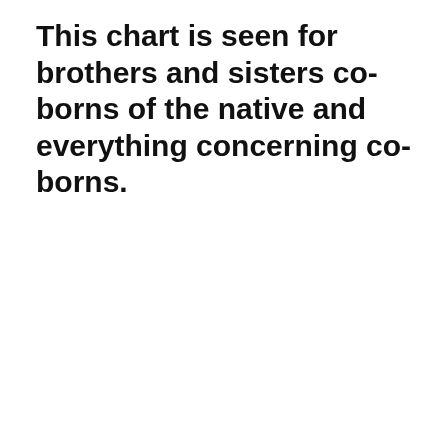This chart is seen for brothers and sisters co-borns of the native and everything concerning co-borns.